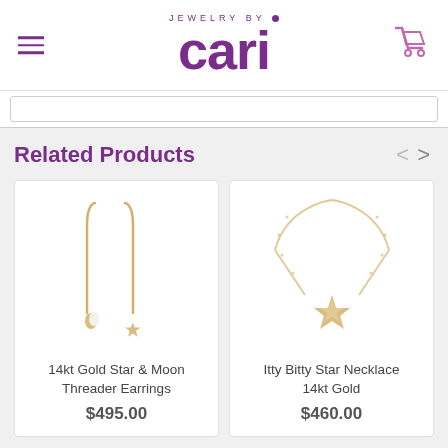JEWELRY BY • cari
Related Products
[Figure (photo): 14kt gold star and moon threader earrings — two long thin gold wire earrings with small star and moon charms at the bottom]
14kt Gold Star & Moon Threader Earrings
$495.00
[Figure (photo): Itty Bitty Star Necklace in 14kt gold — a delicate gold chain necklace with a small star charm pendant]
Itty Bitty Star Necklace 14kt Gold
$460.00